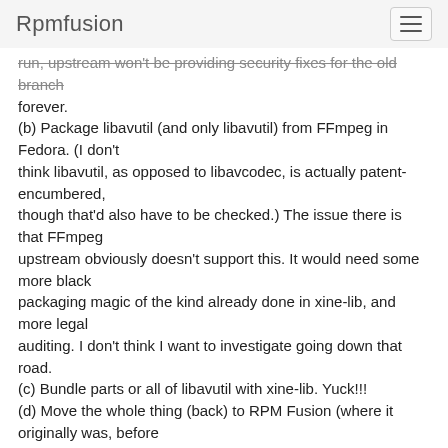Rpmfusion
run, upstream won't be providing security fixes for the old branch forever.
(b) Package libavutil (and only libavutil) from FFmpeg in Fedora. (I don't
think libavutil, as opposed to libavcodec, is actually patent-encumbered,
though that'd also have to be checked.) The issue there is that FFmpeg
upstream obviously doesn't support this. It would need some more black
packaging magic of the kind already done in xine-lib, and more legal
auditing. I don't think I want to investigate going down that road.
(c) Bundle parts or all of libavutil with xine-lib. Yuck!!!
(d) Move the whole thing (back) to RPM Fusion (where it originally was, before
we started needing xine-lib for Amarok and Phonon, which both no longer
[Fedora logo] It would go to the Free section, of course.
My proposal is to go with (d).